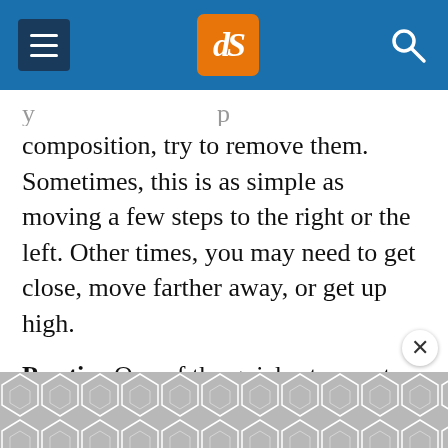dPS (digital Photography School) navigation header with hamburger menu, logo, and search icon
composition, try to remove them. Sometimes, this is as simple as moving a few steps to the right or the left. Other times, you may need to get close, move farther away, or get up high.
Pro tip: One of the quickest ways to ruin a street portrait is by including a busy, complex background. A busy background will make your image look flat, it will swallow up your subject, and it’ll distract the viewer’s eye. Personally, I love backgrounds that are clean, colorful, and
[Figure (other): Advertisement placeholder with geometric hexagon/diamond pattern in gray]